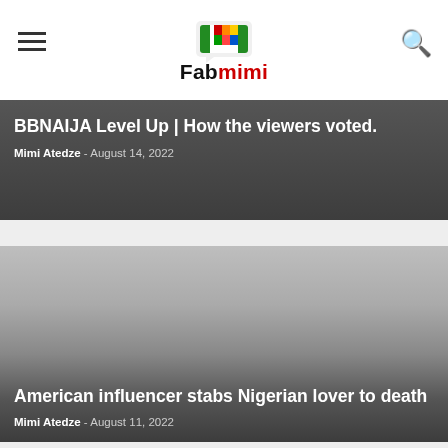Fabmimi
BBNAIJA Level Up | How the viewers voted.
Mimi Atedze - August 14, 2022
[Figure (photo): Dark gradient placeholder image for article about American influencer stabbing Nigerian lover]
American influencer stabs Nigerian lover to death
Mimi Atedze - August 11, 2022